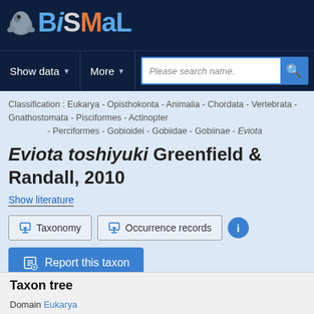OBiSMaL - Navigation header with Show data, More, and search bar
Classification : Eukarya - Opisthokonta - Animalia - Chordata - Vertebrata - Gnathostomata - Pisciformes - Actinopter - Perciformes - Gobioidei - Gobiidae - Gobiinae - Eviota
Eviota toshiyuki Greenfield & Randall, 2010
Show literature
Taxonomy | Occurrence records
Report this taxon
Taxon tree
Domain Eukarya
L Supergroup Opisthokonta
L Kingdom Animalia
L Phylum Chordata